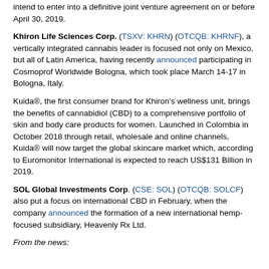intend to enter into a definitive joint venture agreement on or before April 30, 2019.
Khiron Life Sciences Corp. (TSXV: KHRN) (OTCQB: KHRNF), a vertically integrated cannabis leader is focused not only on Mexico, but all of Latin America, having recently announced participating in Cosmoprof Worldwide Bologna, which took place March 14-17 in Bologna, Italy.
Kuida®, the first consumer brand for Khiron's wellness unit, brings the benefits of cannabidiol (CBD) to a comprehensive portfolio of skin and body care products for women. Launched in Colombia in October 2018 through retail, wholesale and online channels, Kuida® will now target the global skincare market which, according to Euromonitor International is expected to reach US$131 Billion in 2019.
SOL Global Investments Corp. (CSE: SOL) (OTCQB: SOLCF) also put a focus on international CBD in February, when the company announced the formation of a new international hemp-focused subsidiary, Heavenly Rx Ltd.
From the news: